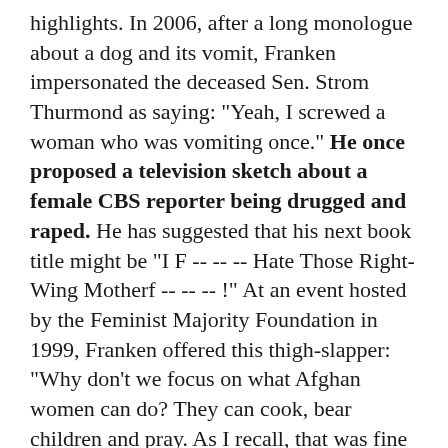highlights. In 2006, after a long monologue about a dog and its vomit, Franken impersonated the deceased Sen. Strom Thurmond as saying: "Yeah, I screwed a woman who was vomiting once." He once proposed a television sketch about a female CBS reporter being drugged and raped. He has suggested that his next book title might be "I F -- -- -- Hate Those Right-Wing Motherf -- -- -- !" At an event hosted by the Feminist Majority Foundation in 1999, Franken offered this thigh-slapper: "Why don't we focus on what Afghan women can do? They can cook, bear children and pray. As I recall, that was fine for our grandmothers."